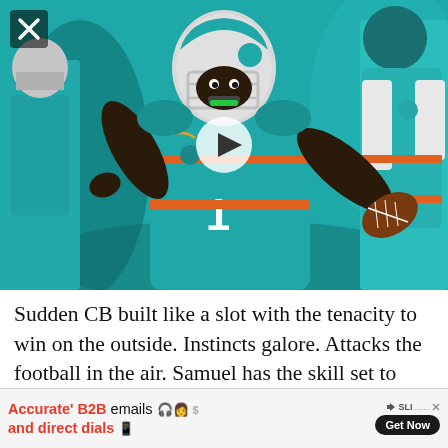[Figure (photo): Miami Dolphins quarterback in teal uniform number 1 throwing a football during warmups or game, with another player in teal in background. A play button icon is overlaid in the center. An X close button appears in the top left corner.]
Sudden CB built like a slot with the tenacity to win on the outside. Instincts galore. Attacks the football in the air. Samuel has the skill set to translate quickly to today's separation-based NFL, and the Chargers had a gaping hole in their secondary
[Figure (infographic): Advertisement banner: 'Accurate' B2B emails and direct dials' with illustrated character, SLI logo, and 'Get Now' button.]